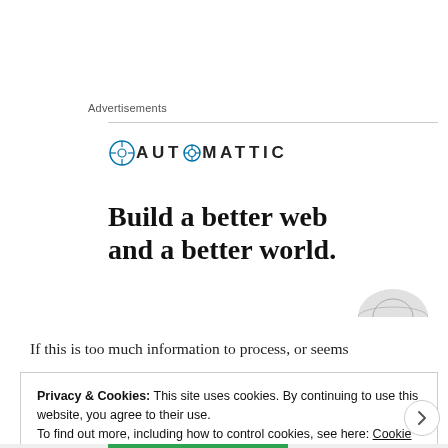Advertisements
[Figure (logo): Automattic logo with circular compass icon and text AUTOMATTIC in spaced uppercase]
Build a better web and a better world.
[Figure (illustration): Partial globe/world illustration peeking from right side]
If this is too much information to process, or seems
Privacy & Cookies: This site uses cookies. By continuing to use this website, you agree to their use.
To find out more, including how to control cookies, see here: Cookie Policy
Close and accept